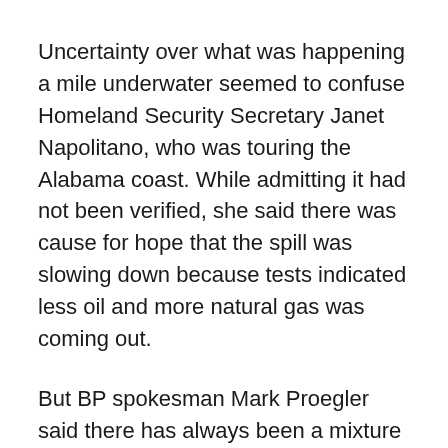Uncertainty over what was happening a mile underwater seemed to confuse Homeland Security Secretary Janet Napolitano, who was touring the Alabama coast. While admitting it had not been verified, she said there was cause for hope that the spill was slowing down because tests indicated less oil and more natural gas was coming out.
But BP spokesman Mark Proegler said there has always been a mixture of gas and oil coming up and that scientists haven't noticed any significant change in the leak.
Senators sought assurances that BP PLC will pay what could amount to billions of dollars in economic and